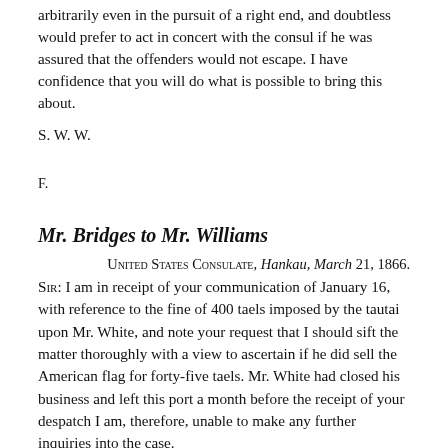arbitrarily even in the pursuit of a right end, and doubtless would prefer to act in concert with the consul if he was assured that the offenders would not escape. I have confidence that you will do what is possible to bring this about.
S. W. W.
F.
Mr. Bridges to Mr. Williams
United States Consulate, Hankau, March 21, 1866.
Sir: I am in receipt of your communication of January 16, with reference to the fine of 400 taels imposed by the tautai upon Mr. White, and note your request that I should sift the matter thoroughly with a view to ascertain if he did sell the American flag for forty-five taels. Mr. White had closed his business and left this port a month before the receipt of your despatch I am, therefore, unable to make any further inquiries into the case.